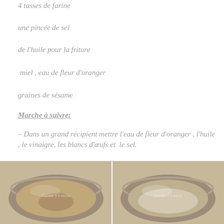4 tasses de farine
une pincée de sel
de l'huile pour la friture
miel , eau de fleur d'oranger
graines de sésame
Marche à suivre:
– Dans un grand récipient mettre l'eau de fleur d'oranger , l'huile , le vinaigre, les blancs d'œufs et  le sel.
[Figure (photo): Two side-by-side photos of stainless steel mixing bowls on a beige background, with watermark text 'Cuisine à 4 mains']